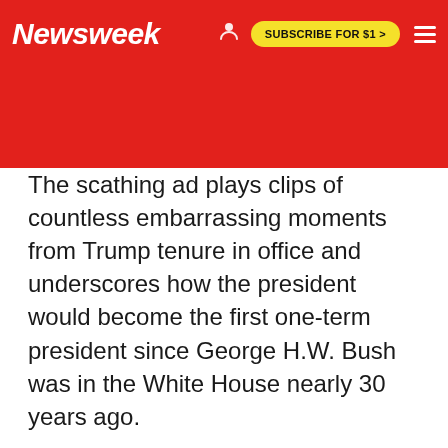Newsweek | SUBSCRIBE FOR $1 >
The scathing ad plays clips of countless embarrassing moments from Trump tenure in office and underscores how the president would become the first one-term president since George H.W. Bush was in the White House nearly 30 years ago.
The deeply sarcastic Lincoln Project ad mocks Trump for having a "turd mentality," referencing